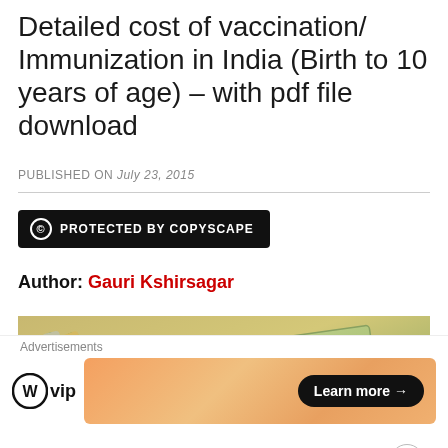Detailed cost of vaccination/ Immunization in India (Birth to 10 years of age) – with pdf file download
PUBLISHED ON July 23, 2015
[Figure (logo): Copyscape copyright protection badge — black rectangle with circle-C icon and text PROTECTED BY COPYSCAPE]
Author: Gauri Kshirsagar
[Figure (photo): Photo of Indian 100 rupee currency notes with medicine vials (green capsules/ampoules) placed on top, suggesting vaccination costs in India]
Advertisements
[Figure (logo): WordPress VIP logo and an advertisement banner with orange gradient showing Learn more arrow button]